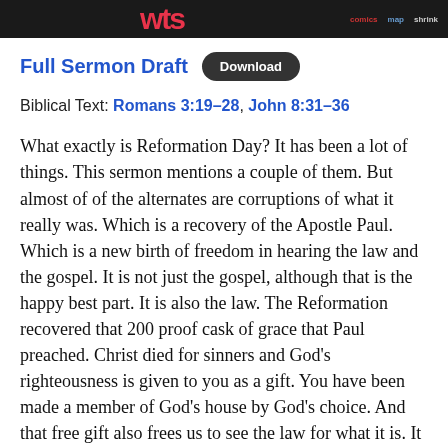[Website header with logo and navigation: comics, map, shrink]
Full Sermon Draft  Download
Biblical Text: Romans 3:19–28, John 8:31–36
What exactly is Reformation Day? It has been a lot of things. This sermon mentions a couple of them. But almost of of the alternates are corruptions of what it really was. Which is a recovery of the Apostle Paul. Which is a new birth of freedom in hearing the law and the gospel. It is not just the gospel, although that is the happy best part. It is also the law. The Reformation recovered that 200 proof cask of grace that Paul preached. Christ died for sinners and God's righteousness is given to you as a gift. You have been made a member of God's house by God's choice. And that free gift also frees us to see the law for what it is. It is not a method of